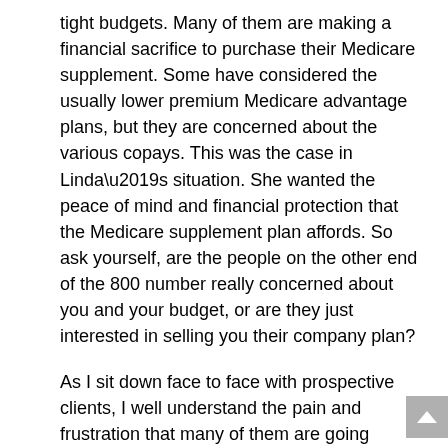tight budgets. Many of them are making a financial sacrifice to purchase their Medicare supplement. Some have considered the usually lower premium Medicare advantage plans, but they are concerned about the various copays. This was the case in Linda’s situation. She wanted the peace of mind and financial protection that the Medicare supplement plan affords. So ask yourself, are the people on the other end of the 800 number really concerned about you and your budget, or are they just interested in selling you their company plan?
As I sit down face to face with prospective clients, I well understand the pain and frustration that many of them are going through. There are times when I wish I could discount the premium, but regulations prohibit that. The least I can do for them is to show them how to navigate through the Medicare maze as affordably as possible. Folks, that doesn’t happen when you call the 800 numbers.